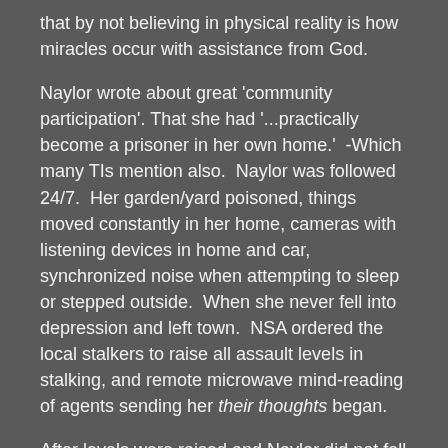that by not believing in physical reality is how miracles occur with assistance from God.
Naylor wrote about great 'community participation'. That she had '...practically become a prisoner in her own home.' -Which many TIs mention also. Naylor was followed 24/7. Her garden/yard poisoned, things moved constantly in her home, cameras with listening devices in home and car, synchronized noise when attempting to sleep or stepped outside. When she never fell into depression and left town. NSA ordered the local stalkers to raise all assault levels in stalking, and remote microwave mind-reading of agents sending her their thoughts began.
After levels were raised and Naylor did not fall to pieces, the 'community' around her upgraded attacks and a